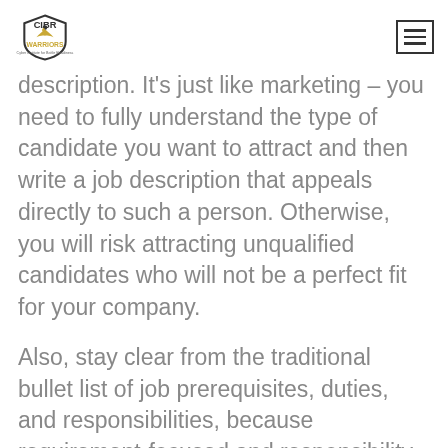CIBR WARRIORS — Cyber Institute for Battle Readiness
description. It's just like marketing – you need to fully understand the type of candidate you want to attract and then write a job description that appeals directly to such a person. Otherwise, you will risk attracting unqualified candidates who will not be a perfect fit for your company.
Also, stay clear from the traditional bullet list of job prerequisites, duties, and responsibilities, because requirement-focused and responsibility-based job descriptions can alienate